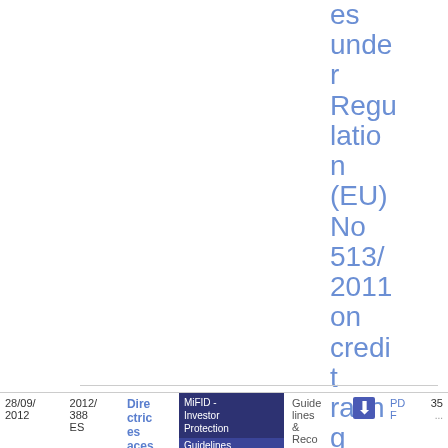offices under Regulation (EU) No 513/2011 on credit rating agencies
| Date | Reference | Title | Topic | Type | Icon | Format | Num |
| --- | --- | --- | --- | --- | --- | --- | --- |
| 28/09/2012 | 2012/388 ES | Directrices aces... | MiFID - Investor Protection / Guidelines | Guidelines & Reco... |  | PDF | 35 |